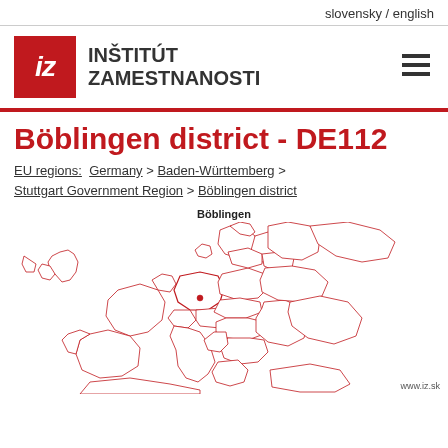slovensky / english
[Figure (logo): IZ logo - red square with italic 'iz' text and INŠTITÚT ZAMESTNANOSTI text beside it]
Böblingen district - DE112
EU regions: Germany > Baden-Württemberg > Stuttgart Government Region > Böblingen district
[Figure (map): Map of Europe with red region borders highlighting Böblingen district location, labeled 'Böblingen' with watermark www.iz.sk]